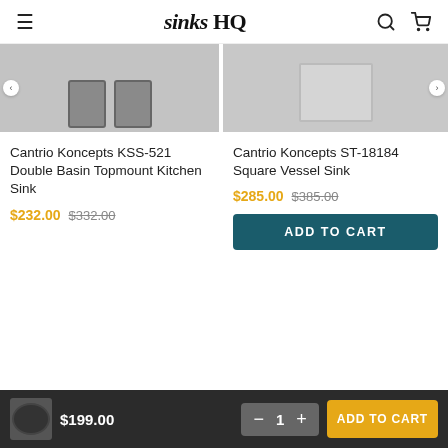sinksHQ
[Figure (photo): Partial view of a double basin stainless steel topmount kitchen sink on gray background]
[Figure (photo): Partial view of a square vessel sink on gray background]
Cantrio Koncepts KSS-521 Double Basin Topmount Kitchen Sink
$232.00  $332.00
Cantrio Koncepts ST-18184 Square Vessel Sink
$285.00  $385.00
ADD TO CART
$199.00  −  1  +  ADD TO CART